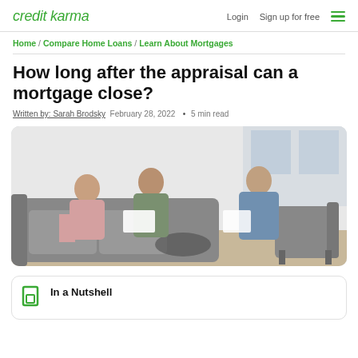credit karma  Login  Sign up for free
Home / Compare Home Loans / Learn About Mortgages
How long after the appraisal can a mortgage close?
Written by: Sarah Brodsky  February 28, 2022  • 5 min read
[Figure (photo): A couple sitting on a grey sofa reviewing documents with a financial advisor in a bright modern room]
In a Nutshell